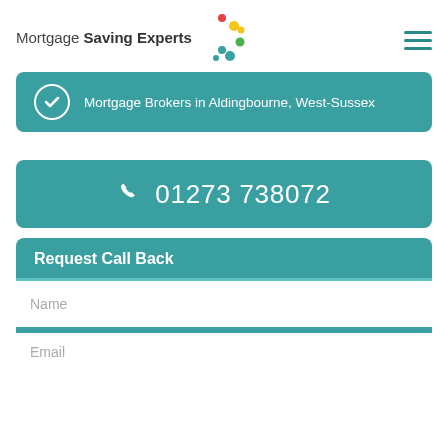Mortgage Saving Experts
Mortgage Brokers in Aldingbourne, West-Sussex
01273 738072
Request Call Back
Name
Email